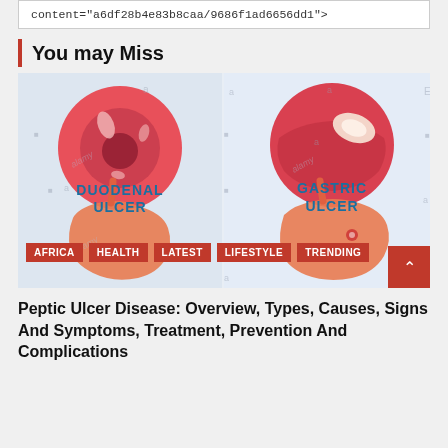content="a6df28b4e83b8caa/9686f1ad6656dd1">
You may Miss
[Figure (illustration): Medical illustration showing two types of ulcers side by side: Duodenal Ulcer (left) with circular cross-section showing ulcer inside duodenum and stomach anatomy below, and Gastric Ulcer (right) with circular cross-section showing ulcer on stomach wall and stomach anatomy below. Tags: AFRICA, HEALTH, LATEST, LIFESTYLE, TRENDING]
Peptic Ulcer Disease: Overview, Types, Causes, Signs And Symptoms, Treatment, Prevention And Complications